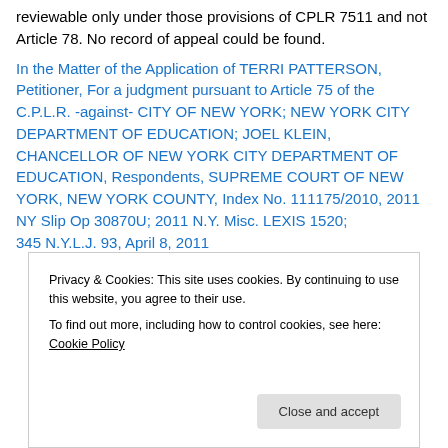reviewable only under those provisions of CPLR 7511 and not Article 78. No record of appeal could be found.
In the Matter of the Application of TERRI PATTERSON, Petitioner, For a judgment pursuant to Article 75 of the C.P.L.R. -against- CITY OF NEW YORK; NEW YORK CITY DEPARTMENT OF EDUCATION; JOEL KLEIN, CHANCELLOR OF NEW YORK CITY DEPARTMENT OF EDUCATION, Respondents, SUPREME COURT OF NEW YORK, NEW YORK COUNTY, Index No. 111175/2010, 2011 NY Slip Op 30870U; 2011 N.Y. Misc. LEXIS 1520; 345 N.Y.L.J. 93, April 8, 2011
Privacy & Cookies: This site uses cookies. By continuing to use this website, you agree to their use. To find out more, including how to control cookies, see here: Cookie Policy